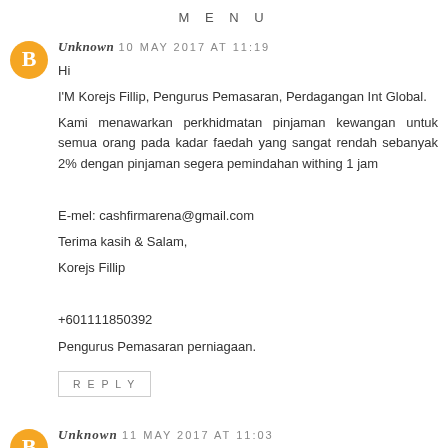MENU
Unknown 10 MAY 2017 AT 11:19
Hi
I'M Korejs Fillip, Pengurus Pemasaran, Perdagangan Int Global.
Kami menawarkan perkhidmatan pinjaman kewangan untuk semua orang pada kadar faedah yang sangat rendah sebanyak 2% dengan pinjaman segera pemindahan withing 1 jam

E-mel: cashfirmarena@gmail.com
Terima kasih & Salam,
Korejs Fillip

+601111850392
Pengurus Pemasaran perniagaan.
REPLY
Unknown 11 MAY 2017 AT 11:03
Adakah anda memerlukan pinjaman kredit kewangan yang mendesak?
* Pemindahan Sangat cepat dan serta-merta ke akaun bank anda
* Bayaran balik bermula lapan bulan selepas anda mendapatkan wang